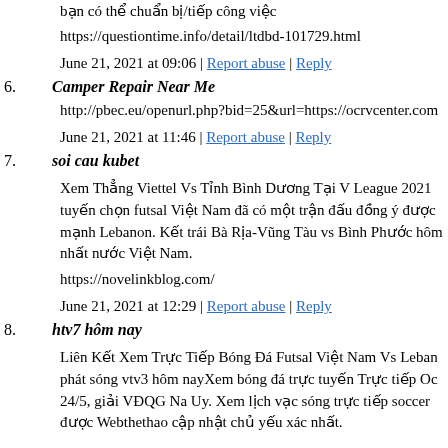bạn có thể chuẩn bị/tiếp công việc
https://questiontime.info/detail/ltdbd-101729.html
June 21, 2021 at 09:06 | Report abuse | Reply
6. Camper Repair Near Me
http://pbec.eu/openurl.php?bid=25&url=https://ocrvcenter.com
June 21, 2021 at 11:46 | Report abuse | Reply
7. soi cau kubet
Xem Thẳng Viettel Vs Tỉnh Bình Dương Tại V League 2021 tuyến chọn futsal Việt Nam đã có một trận đấu đồng ý được mạnh Lebanon. Kết trái Bà Rịa-Vũng Tàu vs Bình Phước hôm nhất nước Việt Nam.
https://novelinkblog.com/
June 21, 2021 at 12:29 | Report abuse | Reply
8. htv7 hôm nay
Liên Kết Xem Trực Tiếp Bóng Đá Futsal Việt Nam Vs Lebanon phát sóng vtv3 hôm nayXem bóng đá trực tuyến Trực tiếp OC 24/5, giải VĐQG Na Uy. Xem lịch vạc sóng trực tiếp soccer được Webthethao cập nhật chủ yếu xác nhất.